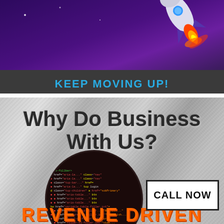[Figure (illustration): Top banner with purple/dark gradient background and cartoon rocket launching with flame trail on the right side]
KEEP MOVING UP!
Why Do Business With Us?
[Figure (photo): Circular cropped photo of a computer screen showing colorful HTML/CSS code in a dark IDE environment]
CALL NOW
REVENUE DRIVEN